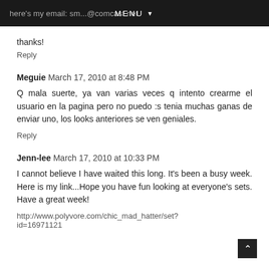here's my email: sm...@comcast.net  MENU ▼
thanks!
Reply
Meguie  March 17, 2010 at 8:48 PM
Q mala suerte, ya van varias veces q intento crearme el usuario en la pagina pero no puedo :s tenia muchas ganas de enviar uno, los looks anteriores se ven geniales.
Reply
Jenn-lee  March 17, 2010 at 10:33 PM
I cannot believe I have waited this long. It's been a busy week. Here is my link...Hope you have fun looking at everyone's sets. Have a great week!
http://www.polyvore.com/chic_mad_hatter/set?id=16971121